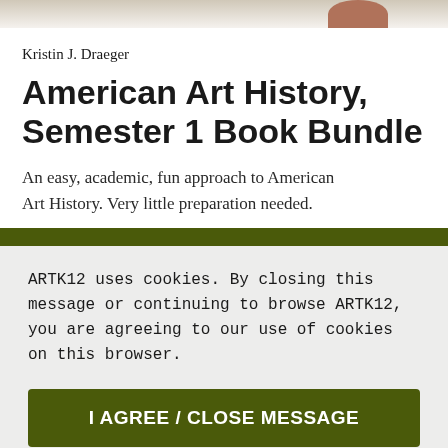[Figure (photo): Partial book cover image at top of page]
Kristin J. Draeger
American Art History, Semester 1 Book Bundle
An easy, academic, fun approach to American Art History. Very little preparation needed.
ARTK12 uses cookies. By closing this message or continuing to browse ARTK12, you are agreeing to our use of cookies on this browser.
I AGREE / CLOSE MESSAGE